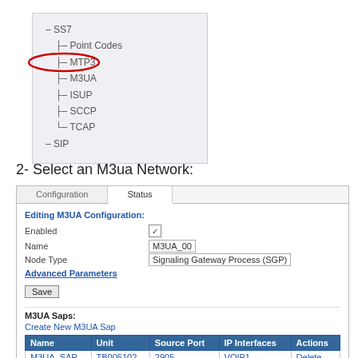[Figure (screenshot): Navigation tree showing SS7 menu expanded with items: Point Codes, MTP3, M3UA (highlighted with red oval), ISUP, SCCP, TCAP, and SIP at the bottom level.]
2- Select an M3ua Network:
[Figure (screenshot): M3UA configuration panel with tabs 'Configuration' (inactive) and 'Status' (active). Shows form fields: Enabled (checkbox checked), Name (M3UA_00), Node Type (Signaling Gateway Process (SGP)). Has Advanced Parameters link, Save button, M3UA Saps section with Create New M3UA Sap link, and table with columns Name, Unit, Source Port, IP Interfaces, Actions; row: M3UA_SAP, TB005102, 2905, VOIP1, Delete. M3UA Networks section at bottom.]